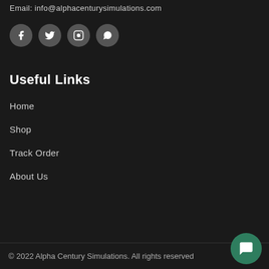Email: info@alphacenturysimulations.com
[Figure (other): Four social media icon buttons (Facebook, Twitter, Instagram, WhatsApp) as circular grey buttons with white icons]
Useful Links
Home
Shop
Track Order
About Us
© 2022 Alpha Century Simulations. All rights reserved